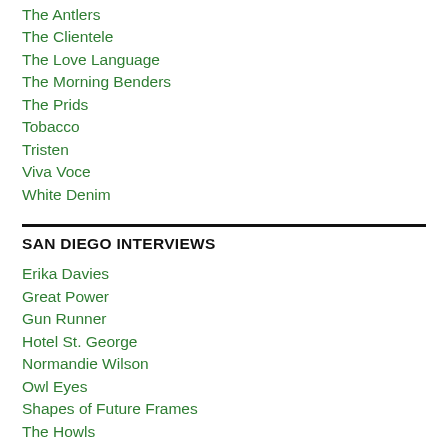The Antlers
The Clientele
The Love Language
The Morning Benders
The Prids
Tobacco
Tristen
Viva Voce
White Denim
SAN DIEGO INTERVIEWS
Erika Davies
Great Power
Gun Runner
Hotel St. George
Normandie Wilson
Owl Eyes
Shapes of Future Frames
The Howls
The Midwinters
The Moviegoers
The Old In Out